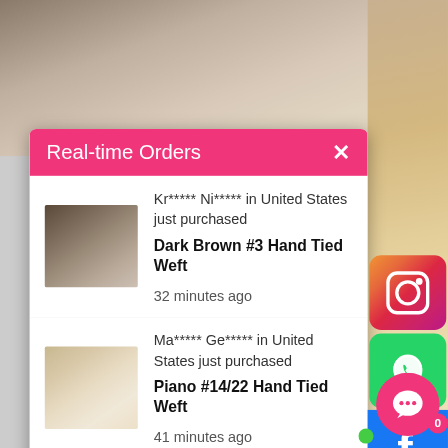[Figure (photo): Background photo showing partial view of woman's face/hair from above, cropped]
Real-time Orders
[Figure (photo): Dark brown hair extension product thumbnail]
Kr***** Ni***** in United States just purchased
Dark Brown #3 Hand Tied Weft
32 minutes ago
[Figure (photo): Light blonde/piano color hair extension product thumbnail]
Ma***** Ge***** in United States just purchased
Piano #14/22 Hand Tied Weft
41 minutes ago
[Figure (photo): Darkest brown/near black hair extension product thumbnail]
Al*** Ak*** in United States just purchased
Darkest Brown #2 Flat Tip Hair
1 hours ago